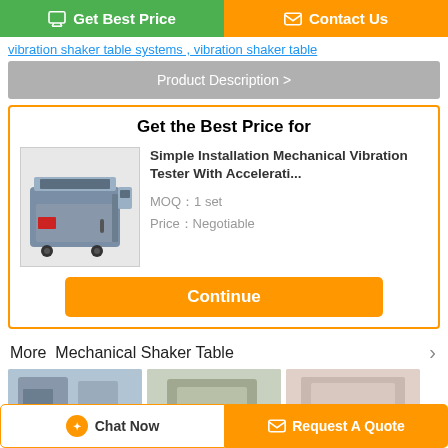[Figure (screenshot): Two top buttons: green 'Get Best Price' and orange 'Contact Us']
vibration shaker table systems , vibration shaker table
Product Description >
Get the Best Price for
[Figure (photo): Gray mechanical vibration tester machine on wheels]
Simple Installation Mechanical Vibration Tester With Accelerati...
MOQ：1 set
Price：Negotiable
Continue
More  Mechanical Shaker Table
[Figure (photo): Three product thumbnail images at the bottom]
Chat Now
Request A Quote